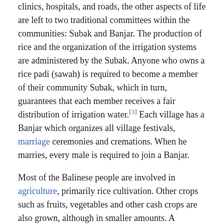clinics, hospitals, and roads, the other aspects of life are left to two traditional committees within the communities: Subak and Banjar. The production of rice and the organization of the irrigation systems are administered by the Subak. Anyone who owns a rice padi (sawah) is required to become a member of their community Subak, which in turn, guarantees that each member receives a fair distribution of irrigation water.[3] Each village has a Banjar which organizes all village festivals, marriage ceremonies and cremations. When he marries, every male is required to join a Banjar.
Most of the Balinese people are involved in agriculture, primarily rice cultivation. Other crops such as fruits, vegetables and other cash crops are also grown, although in smaller amounts. A significant number of Balinese are also fishermen. Bali is famous for its artisans who produce batik and ikat cloth and clothing, wooden carvings, stone carvings and silverware.